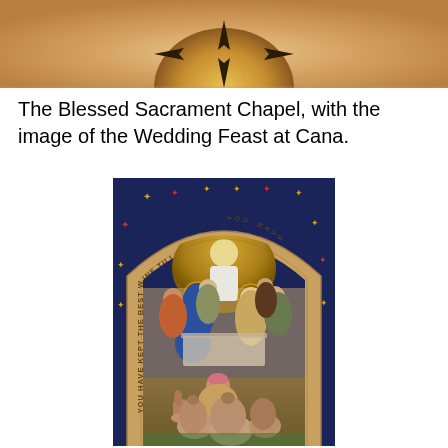[Figure (photo): Top portion of a religious mosaic or artwork showing a sun/star shape with radiating points against a warm beige/tan background, partially cropped at top of page.]
The Blessed Sacrament Chapel, with the image of the Wedding Feast at Cana.
[Figure (photo): A mosaic artwork depicting the Wedding Feast at Cana, set within a stone arch. The arch bears the inscription 'YOU HAVE KEPT THE BEST WINE TILL NOW'. The mosaic shows Mary with halo, Jesus with halo, various figures at a feast, and a servant kneeling with large clay water jars in the foreground. Background features a dark blue field with gold and colored star/cross decorations. The arch surround is warm beige/tan stone.]